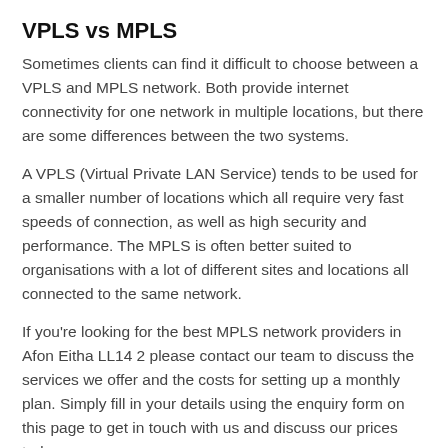VPLS vs MPLS
Sometimes clients can find it difficult to choose between a VPLS and MPLS network. Both provide internet connectivity for one network in multiple locations, but there are some differences between the two systems.
A VPLS (Virtual Private LAN Service) tends to be used for a smaller number of locations which all require very fast speeds of connection, as well as high security and performance. The MPLS is often better suited to organisations with a lot of different sites and locations all connected to the same network.
If you're looking for the best MPLS network providers in Afon Eitha LL14 2 please contact our team to discuss the services we offer and the costs for setting up a monthly plan. Simply fill in your details using the enquiry form on this page to get in touch with us and discuss our prices today.
Other Services We Offer
Telephone Systems in Afon Eitha